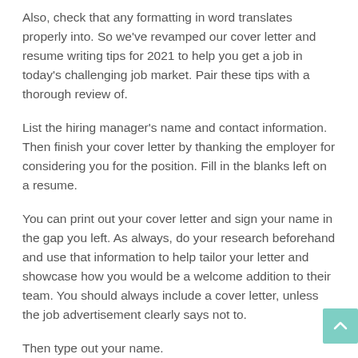Also, check that any formatting in word translates properly into. So we've revamped our cover letter and resume writing tips for 2021 to help you get a job in today's challenging job market. Pair these tips with a thorough review of.
List the hiring manager's name and contact information. Then finish your cover letter by thanking the employer for considering you for the position. Fill in the blanks left on a resume.
You can print out your cover letter and sign your name in the gap you left. As always, do your research beforehand and use that information to help tailor your letter and showcase how you would be a welcome addition to their team. You should always include a cover letter, unless the job advertisement clearly says not to.
Then type out your name.